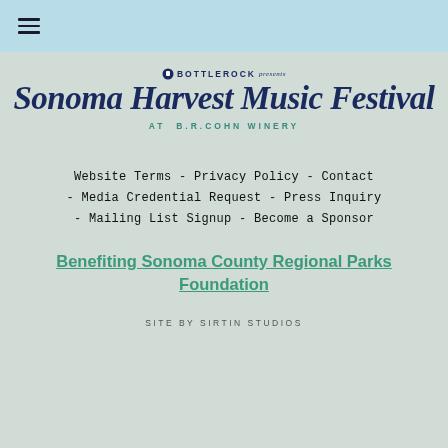≡ (hamburger menu)
[Figure (logo): BottleRock presents Sonoma Harvest Music Festival at B.R.Cohn Winery logo in dark navy script on faded winery background]
Website Terms - Privacy Policy - Contact - Media Credential Request - Press Inquiry - Mailing List Signup - Become a Sponsor
Benefiting Sonoma County Regional Parks Foundation
SITE BY SIRTIN STUDIOS